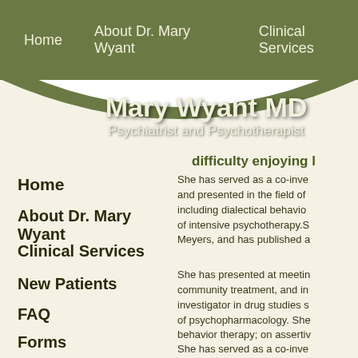Home   About Dr. Mary Wyant   Clinical Services
Mary Wyant MD
Psychiatrist and Psychotherapist
difficulty enjoying l
Home
About Dr. Mary Wyant
Clinical Services
New Patients
FAQ
Forms
Policies
Contact Us
She has served as a co-inve and presented in the field of including dialectical behavior of intensive psychotherapy.S Meyers, and has published a
She has presented at meetin community treatment, and in investigator in drug studies s of psychopharmacology. She behavior therapy; on assertiv psychotherapy.
She has served as a co-inve and presented in the field of